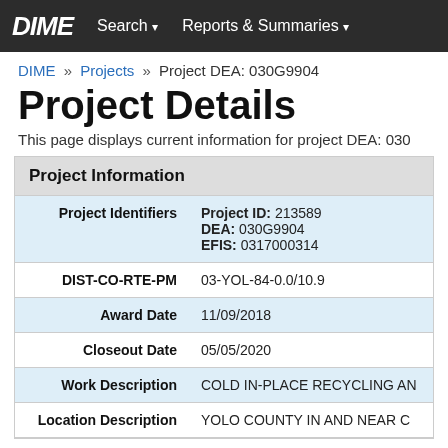DIME  Search ▾  Reports & Summaries ▾
DIME » Projects » Project DEA: 030G9904
Project Details
This page displays current information for project DEA: 030...
Project Information
| Field | Value |
| --- | --- |
| Project Identifiers | Project ID: 213589
DEA: 030G9904
EFIS: 0317000314 |
| DIST-CO-RTE-PM | 03-YOL-84-0.0/10.9 |
| Award Date | 11/09/2018 |
| Closeout Date | 05/05/2020 |
| Work Description | COLD IN-PLACE RECYCLING AN... |
| Location Description | YOLO COUNTY IN AND NEAR C... |